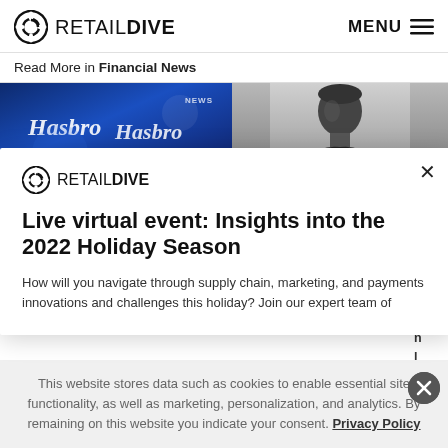RETAIL DIVE | MENU
Read More in Financial News
[Figure (photo): Hasbro branded display with blue background and signage, and a black-and-white portrait photo of a man in dark attire]
Live virtual event: Insights into the 2022 Holiday Season
How will you navigate through supply chain, marketing, and payments innovations and challenges this holiday? Join our expert team of
This website stores data such as cookies to enable essential site functionality, as well as marketing, personalization, and analytics. By remaining on this website you indicate your consent. Privacy Policy